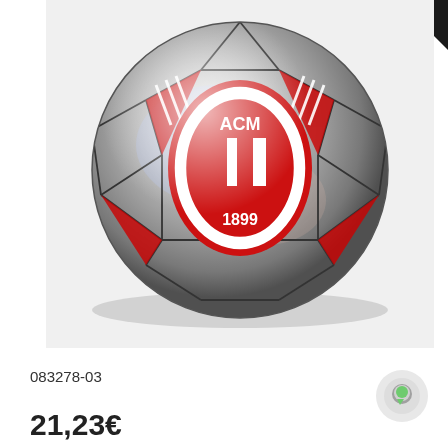[Figure (photo): AC Milan official football (soccer ball) with silver/metallic finish, featuring the ACM crest with '1899' text in red and white on a hexagonal panel design. The ball has red and black accents throughout.]
083278-03
21,23€